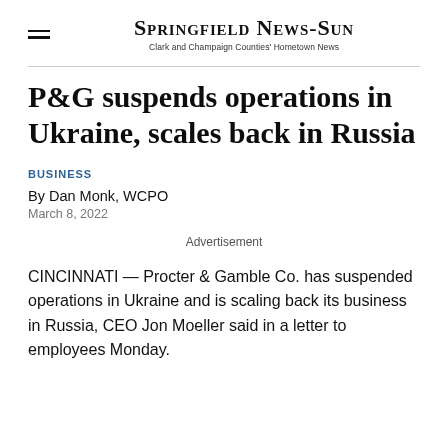SPRINGFIELD NEWS-SUN
Clark and Champaign Counties' Hometown News
P&G suspends operations in Ukraine, scales back in Russia
BUSINESS
By Dan Monk, WCPO
March 8, 2022
Advertisement
CINCINNATI — Procter & Gamble Co. has suspended operations in Ukraine and is scaling back its business in Russia, CEO Jon Moeller said in a letter to employees Monday.